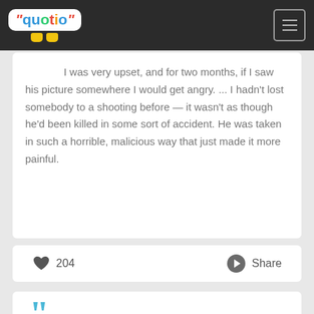quotio - navigation bar with logo and menu button
I was very upset, and for two months, if I saw his picture somewhere I would get angry. ... I hadn't lost somebody to a shooting before — it wasn't as though he'd been killed in some sort of accident. He was taken in such a horrible, malicious way that just made it more painful.
204   Share
[Figure (other): Partial view of a new quote card with large cyan opening quotation marks]